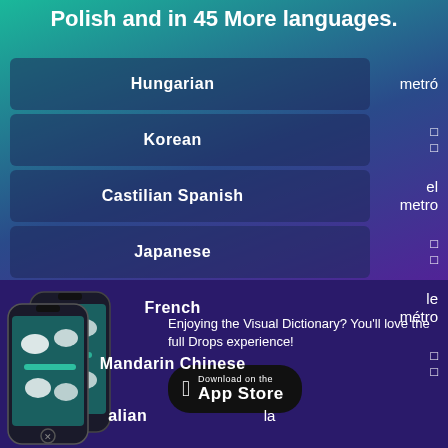Polish and in 45 More languages.
Hungarian — metró
Korean — (characters)
Castilian Spanish — el metro
Japanese — (characters)
French — le métro
Mandarin Chinese — (characters)
Italian — la ...
Enjoying the Visual Dictionary? You'll love the full Drops experience!
[Figure (screenshot): Two smartphones showing the Drops app interface with animal/food learning cards on a dark background]
Download on the App Store